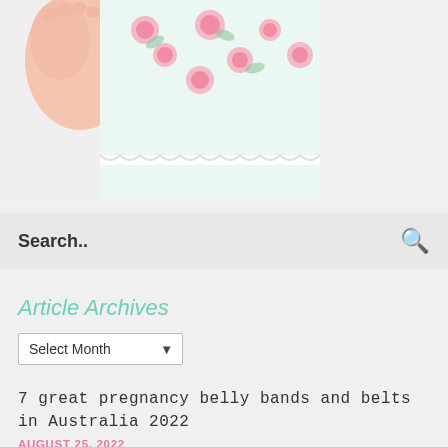[Figure (photo): Close-up photo of a baby's feet and body wearing a floral (pink roses on white/mint) onesie, lying on white fabric]
Search..
Article Archives
Select Month
7 great pregnancy belly bands and belts in Australia 2022
AUGUST 25, 2022